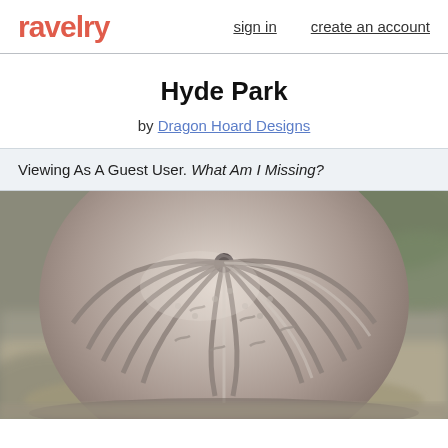ravelry   sign in   create an account
Hyde Park
by Dragon Hoard Designs
Viewing As A Guest User. What Am I Missing?
[Figure (photo): Close-up top-down view of a grey cable-knit hat with twisted stitch pattern radiating from the crown, photographed outdoors on a stone surface with blurred green foliage in background.]